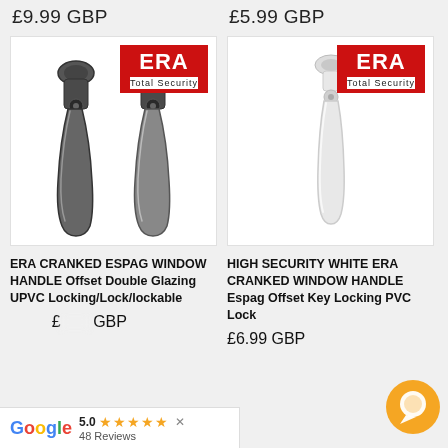£9.99 GBP
£5.99 GBP
[Figure (photo): ERA Cranked Espag window handle in dark chrome/gunmetal, shown from front and back, with ERA Total Security logo]
[Figure (photo): High security white ERA cranked window handle, single unit, with ERA Total Security logo]
ERA CRANKED ESPAG WINDOW HANDLE Offset Double Glazing UPVC Locking/Lock/lockable
HIGH SECURITY WHITE ERA CRANKED WINDOW HANDLE Espag Offset Key Locking PVC Lock
£6.99 GBP
5.0 ★★★★★ 48 Reviews